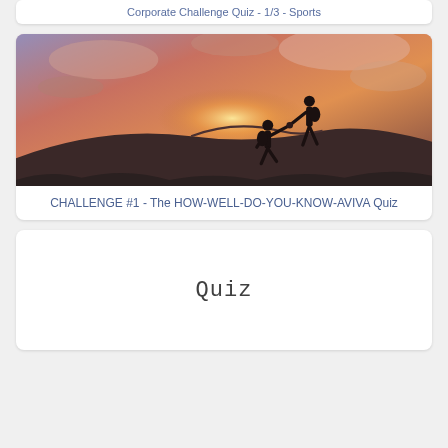Corporate Challenge Quiz - 1/3 - Sports
[Figure (photo): Two silhouetted hikers on a rocky hill at sunset, one reaching down to help the other climb up, dramatic orange and purple sky in background]
CHALLENGE #1 - The HOW-WELL-DO-YOU-KNOW-AVIVA Quiz
[Figure (other): White card with the word 'Quiz' in handwritten-style font centered on it]